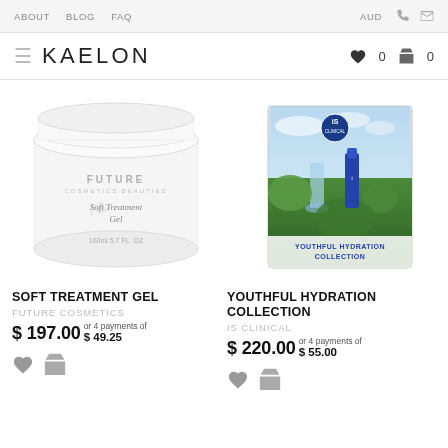ABOUT  BLOG  FAQ  AUD  [phone] [mail]
KAELON  ♥ 0  🛍 0
[Figure (photo): White jar of Future Cosmetics Soft Treatment Gel 160ml product]
[Figure (photo): iS Clinical Youthful Hydration Collection product package with scenic background]
SOFT TREATMENT GEL
YOUTHFUL HYDRATION COLLECTION
FUTURE COSMETICS
IS CLINICAL
$ 197.00 or 4 payments of $ 49.25
$ 220.00 or 4 payments of $ 55.00